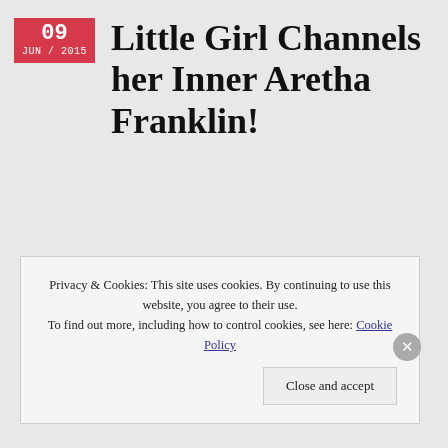Little Girl Channels her Inner Aretha Franklin!
Privacy & Cookies: This site uses cookies. By continuing to use this website, you agree to their use.
To find out more, including how to control cookies, see here: Cookie Policy
Close and accept